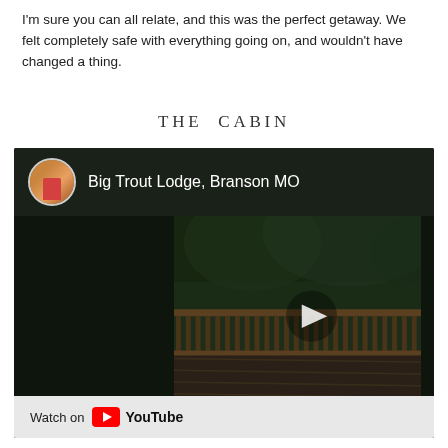I'm sure you can all relate, and this was the perfect getaway. We felt completely safe with everything going on, and wouldn't have changed a thing.
THE CABIN
[Figure (screenshot): YouTube video embed showing 'Big Trout Lodge, Branson MO' with a channel avatar, a dark video thumbnail featuring a wooden deck with railing and trees in background, a play button, and a 'Watch on YouTube' bar at the bottom.]